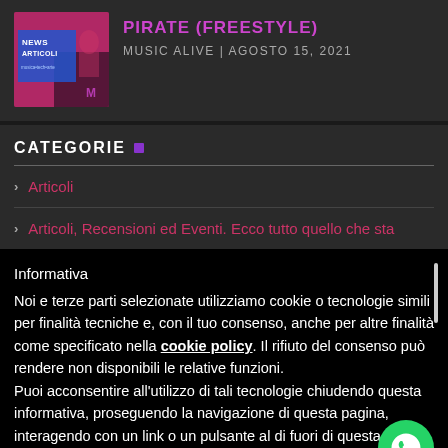[Figure (screenshot): Thumbnail image with 'NEWS ARTICOLI' text on dark pink/magenta background with a person partially visible]
PIRATE (FREESTYLE)
MUSIC ALIVE | AGOSTO 15, 2021
CATEGORIE
Articoli
Articoli, Recensioni ed Eventi. Ecco tutto quello che sta
Informativa
Noi e terze parti selezionate utilizziamo cookie o tecnologie simili per finalità tecniche e, con il tuo consenso, anche per altre finalità come specificato nella cookie policy. Il rifiuto del consenso può rendere non disponibili le relative funzioni.
Puoi acconsentire all'utilizzo di tali tecnologie chiudendo questa informativa, proseguendo la navigazione di questa pagina, interagendo con un link o un pulsante al di fuori di questa informativa o continuando a navigare in altro modo.